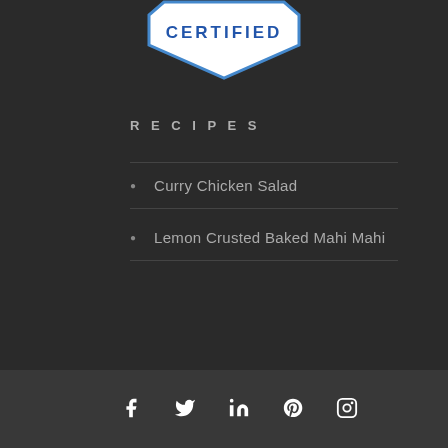[Figure (logo): Certified badge/shield logo with blue outline and text 'CERTIFIED' in blue letters on white background]
RECIPES
Curry Chicken Salad
Lemon Crusted Baked Mahi Mahi
Social media icons: Facebook, Twitter, LinkedIn, Pinterest, Instagram